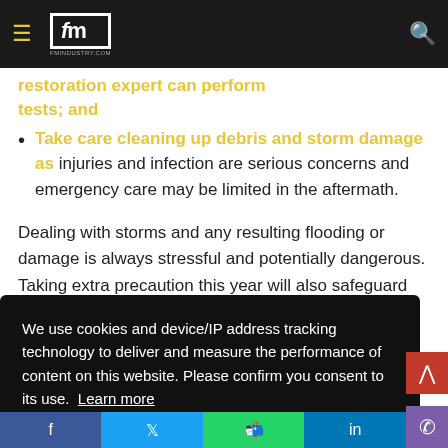fm - fmindustry.com
restoration expert can perform tests; and
Take care cleaning up debris and storm damage as injuries and infection are serious concerns and emergency care may be limited in the aftermath.
Dealing with storms and any resulting flooding or damage is always stressful and potentially dangerous. Taking extra precaution this year will also safeguard you from the
We use cookies and device/IP address tracking technology to deliver and measure the performance of content on this website. Please confirm you consent to its use. Learn more
Got it